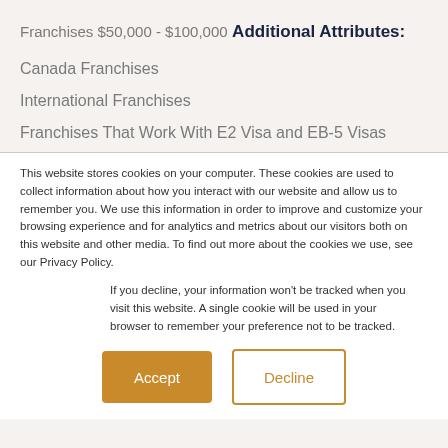Franchises $50,000 - $100,000
Additional Attributes:
Canada Franchises
International Franchises
Franchises That Work With E2 Visa and EB-5 Visas
This website stores cookies on your computer. These cookies are used to collect information about how you interact with our website and allow us to remember you. We use this information in order to improve and customize your browsing experience and for analytics and metrics about our visitors both on this website and other media. To find out more about the cookies we use, see our Privacy Policy.
If you decline, your information won’t be tracked when you visit this website. A single cookie will be used in your browser to remember your preference not to be tracked.